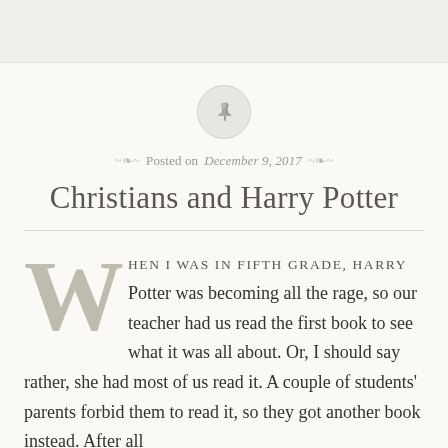[Figure (illustration): A thumbtack/pin icon inside a circular grey button, centered at the top of the content area]
Posted on December 9, 2017
Christians and Harry Potter
When I was in fifth grade, Harry Potter was becoming all the rage, so our teacher had us read the first book to see what it was all about. Or, I should say rather, she had most of us read it. A couple of students' parents forbid them to read it, so they got another book instead. After all